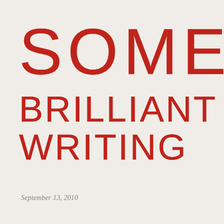SOME BRILLIANT WRITING
September 13, 2010